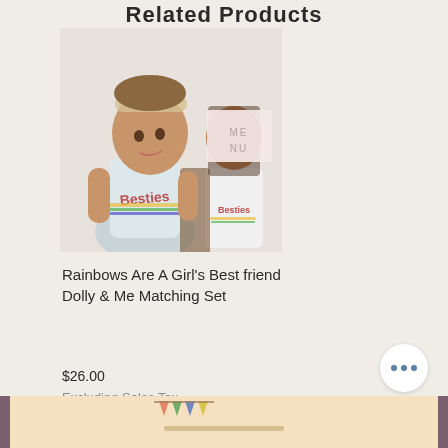Related Products
[Figure (photo): Two children wearing matching white shirts with rainbow 'Bestie' text graphic. One child wears a floral headband. A doll is also wearing a matching outfit. A 'MENU' overlay box appears on the right child's face.]
Rainbows Are A Girl's Best friend Dolly & Me Matching Set
$26.00
Excluding Sales Tax
[Figure (photo): Partially visible image of toys/dolls at the bottom of the page with colored bunting flags visible.]